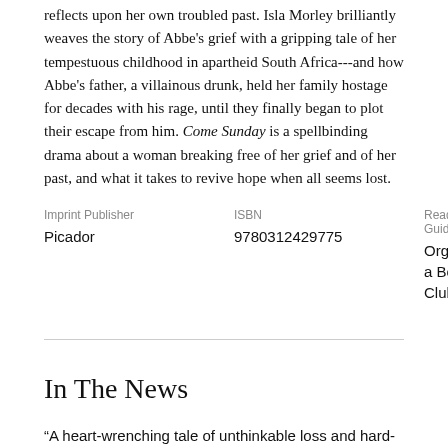reflects upon her own troubled past. Isla Morley brilliantly weaves the story of Abbe's grief with a gripping tale of her tempestuous childhood in apartheid South Africa---and how Abbe's father, a villainous drunk, held her family hostage for decades with his rage, until they finally began to plot their escape from him. Come Sunday is a spellbinding drama about a woman breaking free of her grief and of her past, and what it takes to revive hope when all seems lost.
| Imprint Publisher | ISBN | Reading Guide |
| --- | --- | --- |
| Picador | 9780312429775 | Organize a Book Club ↓ |
In The News
"A heart-wrenching tale of unthinkable loss and hard-won healing. This is a novel to savor." – Sara Gruen, author of Water for Elephants